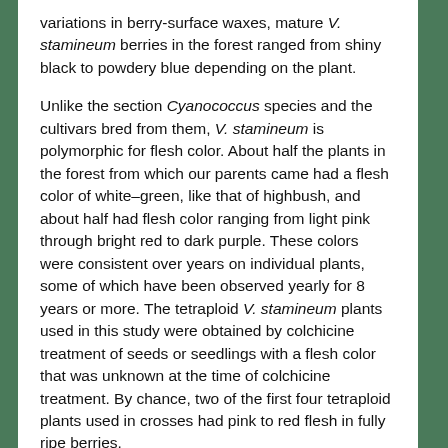variations in berry-surface waxes, mature V. stamineum berries in the forest ranged from shiny black to powdery blue depending on the plant.
Unlike the section Cyanococcus species and the cultivars bred from them, V. stamineum is polymorphic for flesh color. About half the plants in the forest from which our parents came had a flesh color of white–green, like that of highbush, and about half had flesh color ranging from light pink through bright red to dark purple. These colors were consistent over years on individual plants, some of which have been observed yearly for 8 years or more. The tetraploid V. stamineum plants used in this study were obtained by colchicine treatment of seeds or seedlings with a flesh color that was unknown at the time of colchicine treatment. By chance, two of the first four tetraploid plants used in crosses had pink to red flesh in fully ripe berries.